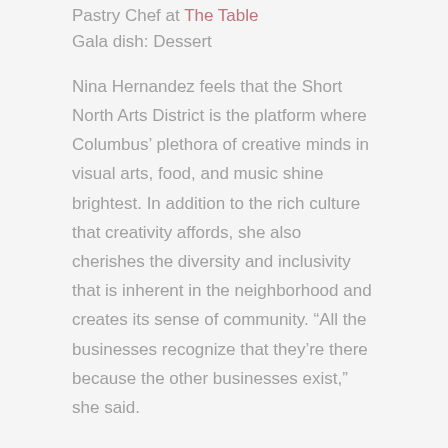Pastry Chef at The Table
Gala dish: Dessert
Nina Hernandez feels that the Short North Arts District is the platform where Columbus' plethora of creative minds in visual arts, food, and music shine brightest. In addition to the rich culture that creativity affords, she also cherishes the diversity and inclusivity that is inherent in the neighborhood and creates its sense of community. “All the businesses recognize that they’re there because the other businesses exist,” she said.
In that spirit, Hernandez is already excited for the Short North Gala. “What I’ve gotten to experience so far with going to the galleries, it’s a cool way to bring different chefs together,” she said. Though Hernandez hasn’t yet been to a Gala, the preparation thus far has already been enjoyable. “It’s a cool way to get to know my ...